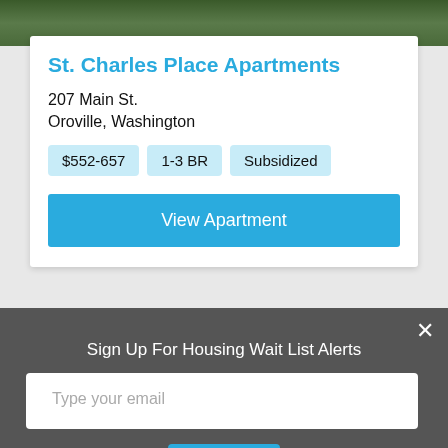[Figure (photo): Green foliage/plants background image at the top of the card]
St. Charles Place Apartments
207 Main St.
Oroville, Washington
$552-657  1-3 BR  Subsidized
View Apartment
Sign Up For Housing Wait List Alerts
Type your email
Sign Up